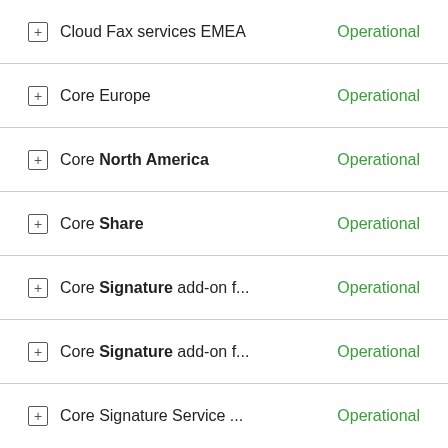Cloud Fax services EMEA — Operational
Core Europe — Operational
Core North America — Operational
Core Share — Operational
Core Signature add-on f... — Operational
Core Signature add-on f... — Operational
Core Signature Service ... — Operational